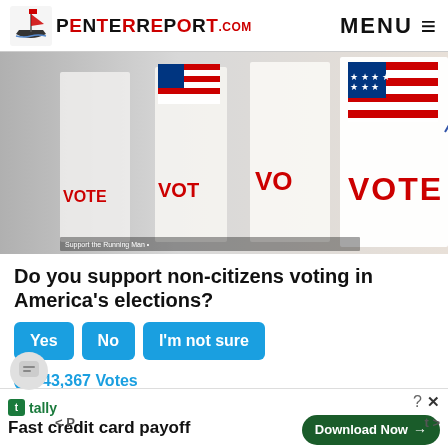PenterReport.com  MENU ≡
[Figure (photo): Voting booths with American flags and 'VOTE' text on panels]
Do you support non-citizens voting in America's elections?
Yes  No  I'm not sure
43,367 Votes
Sponsored Ad
[Figure (infographic): Tally ad: Fast credit card payoff — Download Now button]